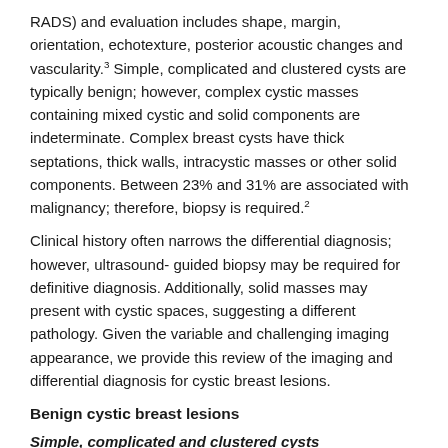RADS) and evaluation includes shape, margin, orientation, echotexture, posterior acoustic changes and vascularity.3 Simple, complicated and clustered cysts are typically benign; however, complex cystic masses containing mixed cystic and solid components are indeterminate. Complex breast cysts have thick septations, thick walls, intracystic masses or other solid components. Between 23% and 31% are associated with malignancy; therefore, biopsy is required.2
Clinical history often narrows the differential diagnosis; however, ultrasound-guided biopsy may be required for definitive diagnosis. Additionally, solid masses may present with cystic spaces, suggesting a different pathology. Given the variable and challenging imaging appearance, we provide this review of the imaging and differential diagnosis for cystic breast lesions.
Benign cystic breast lesions
Simple, complicated and clustered cysts
Simple and complicated cysts are the most common cystic breast lesions. Cysts are fluid filled and develop secondary to dilatation of the terminal ductal lobular unit (TDLU). They are commonly multiple, bilateral and may wax and wane in size. Cysts typically present as circumscribed masses on mammography that maybe obscured by overlying breast tissue.1